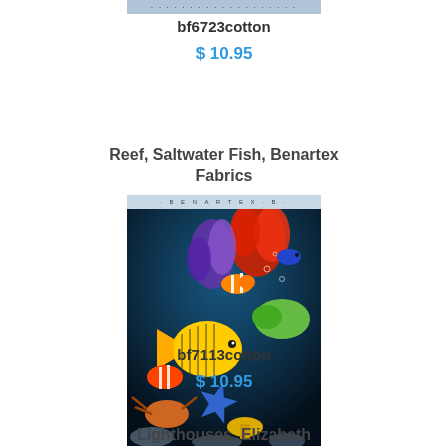[Figure (photo): Partial product image at top of page (cropped fabric product photo)]
bf6723cotton
$ 10.95
Reef, Saltwater Fish, Benartex Fabrics
[Figure (photo): Colorful reef/saltwater fish fabric print showing tropical fish, coral, starfish on dark blue background]
bf7113cotton
$ 10.95
Lighthouses, Elizabeth